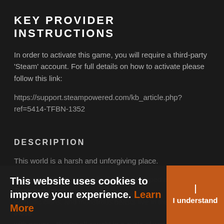KEY PROVIDER INSTRUCTIONS
In order to activate this game, you will require a third-party 'Steam' account. For full details on how to activate please follow this link: https://support.steampowered.com/kb_article.php?ref=5414-TFBN-1352
DESCRIPTION
This world is a harsh and unforgiving place.
Its pe... p. Tenacious tribes, nomadic... shadow of those with power... they're all caught in a cycle of war and violence, to wrestle from the land what little sustenance
This website uses cookies to improve your experience. Learn More
I understand